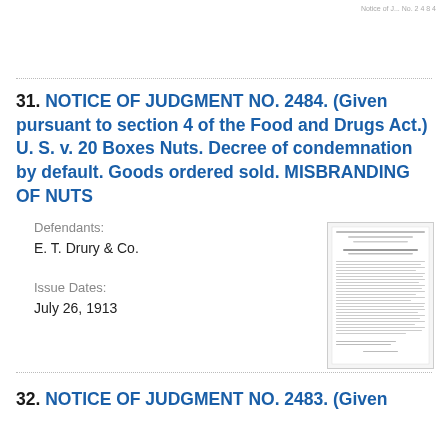Notice of Judgment No. 2484
31. NOTICE OF JUDGMENT NO. 2484. (Given pursuant to section 4 of the Food and Drugs Act.) U. S. v. 20 Boxes Nuts. Decree of condemnation by default. Goods ordered sold. MISBRANDING OF NUTS
Defendants:
E. T. Drury & Co.
Issue Dates:
July 26, 1913
[Figure (photo): Thumbnail image of the Notice of Judgment No. 2484 document page from the United States Department of Agriculture]
32. NOTICE OF JUDGMENT NO. 2483. (Given